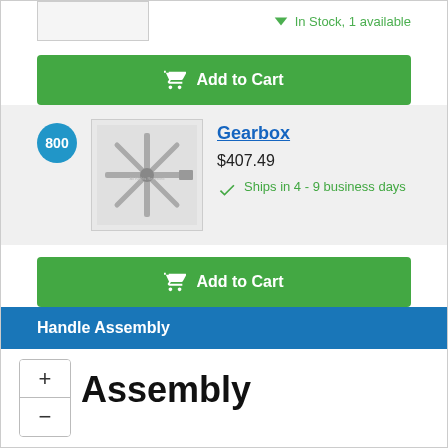[Figure (screenshot): Partial product image placeholder (top, cut off)]
In Stock, 1 available
Add to Cart
800
[Figure (photo): Gearbox product image showing metal gear shaft/spindle assembly]
Gearbox
$407.49
Ships in 4 - 9 business days
Add to Cart
Handle Assembly
Assembly